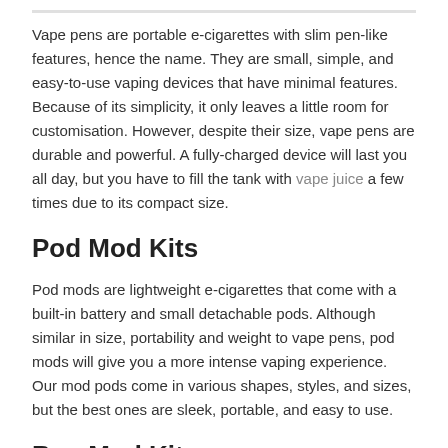Vape pens are portable e-cigarettes with slim pen-like features, hence the name. They are small, simple, and easy-to-use vaping devices that have minimal features. Because of its simplicity, it only leaves a little room for customisation. However, despite their size, vape pens are durable and powerful. A fully-charged device will last you all day, but you have to fill the tank with vape juice a few times due to its compact size.
Pod Mod Kits
Pod mods are lightweight e-cigarettes that come with a built-in battery and small detachable pods. Although similar in size, portability and weight to vape pens, pod mods will give you a more intense vaping experience. Our mod pods come in various shapes, styles, and sizes, but the best ones are sleek, portable, and easy to use.
Box Mod Kits